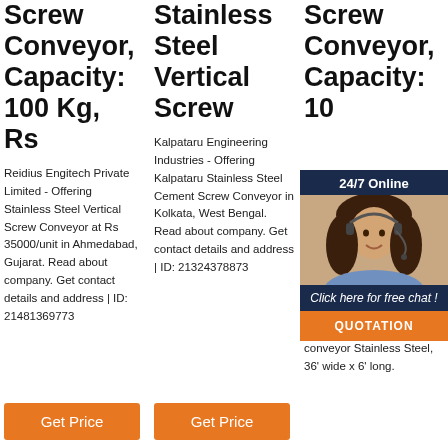Screw Conveyor, Capacity: 100 Kg, Rs
Reidius Engitech Private Limited - Offering Stainless Steel Vertical Screw Conveyor at Rs 35000/unit in Ahmedabad, Gujarat. Read about company. Get contact details and address | ID: 21481369773
Stainless Steel Vertical Screw
Kalpataru Engineering Industries - Offering Kalpataru Stainless Steel Cement Screw Conveyor in Kolkata, West Bengal. Read about company. Get contact details and address | ID: 21324378873
Screw Conveyor, Capacity: 100 Kg, Rs
Stai... 783... vibra... Stai... wide... Stai... 782... conv... x 7.5' long. Carbon Steel. SPC-7827. Conveyor belt conveyor Stainless Steel, 36' wide x 6' long.
[Figure (other): 24/7 Online chat widget with a woman wearing a headset, and a QUOTATION button]